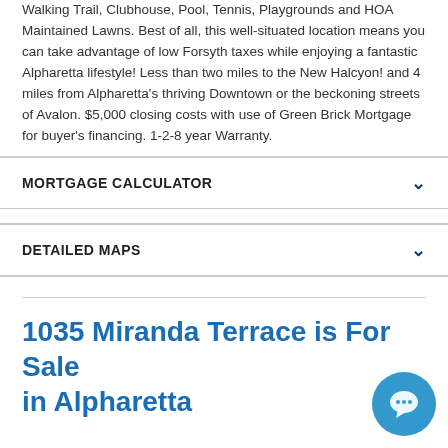Walking Trail, Clubhouse, Pool, Tennis, Playgrounds and HOA Maintained Lawns. Best of all, this well-situated location means you can take advantage of low Forsyth taxes while enjoying a fantastic Alpharetta lifestyle! Less than two miles to the New Halcyon! and 4 miles from Alpharetta's thriving Downtown or the beckoning streets of Avalon. $5,000 closing costs with use of Green Brick Mortgage for buyer's financing. 1-2-8 year Warranty.
MORTGAGE CALCULATOR
DETAILED MAPS
1035 Miranda Terrace is For Sale in Alpharetta